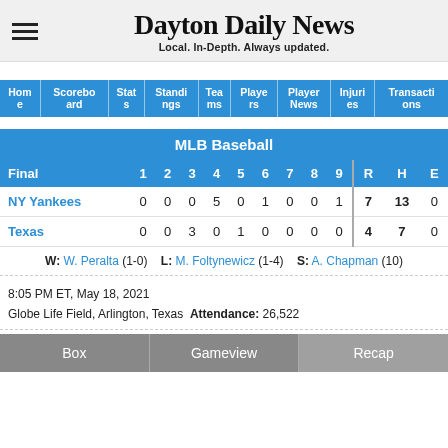Dayton Daily News — Local. In-Depth. Always updated.
| Home | Scoreboard | Stats | Standings | Teams | Players | Player News | Injuries | Transactions |
| --- | --- | --- | --- | --- | --- | --- | --- | --- |
| Final | 1 | 2 | 3 | 4 | 5 | 6 | 7 | 8 | 9 | R | H | E |
| --- | --- | --- | --- | --- | --- | --- | --- | --- | --- | --- | --- | --- |
| NY Yankees | 0 | 0 | 0 | 5 | 0 | 1 | 0 | 0 | 1 | 7 | 13 | 0 |
| Texas | 0 | 0 | 3 | 0 | 1 | 0 | 0 | 0 | 0 | 4 | 7 | 0 |
W: W. Peralta (1-0)   L: M. Foltynewicz (1-4)   S: A. Chapman (10)
8:05 PM ET, May 18, 2021
Globe Life Field, Arlington, Texas  Attendance: 26,522
Box   Gameview   Recap